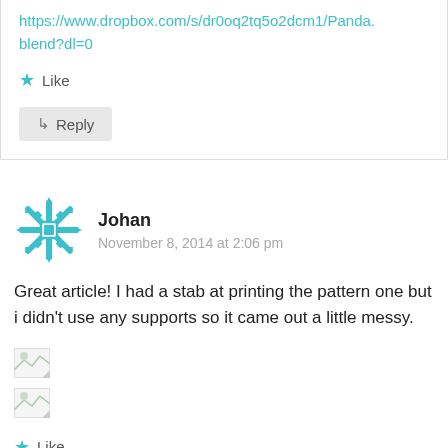https://www.dropbox.com/s/dr0oq2tq5o2dcm1/Panda.blend?dl=0
★ Like
↳ Reply
Johan
November 8, 2014 at 2:06 pm
Great article! I had a stab at printing the pattern one but i didn't use any supports so it came out a little messy.
[Figure (other): Broken image placeholder 1]
[Figure (other): Broken image placeholder 2]
★ Like